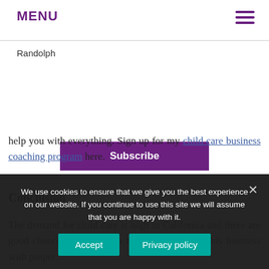MENU
Randolph
Subscribe
help you with everything. Sign up for my child care business coaching program here.
Conclusion
The demand for child care is high in California and there are good chances that you can achieve success in this business with proper
We use cookies to ensure that we give you the best experience on our website. If you continue to use this site we will assume that you are happy with it.